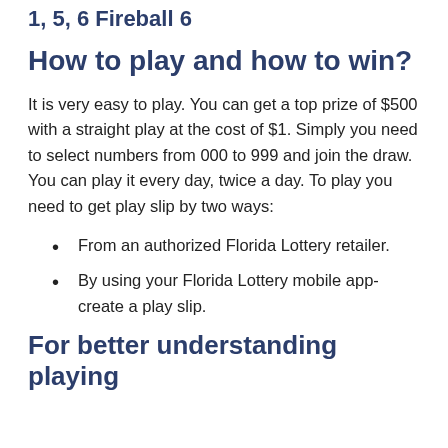1, 5, 6 Fireball 6
How to play and how to win?
It is very easy to play. You can get a top prize of $500 with a straight play at the cost of $1. Simply you need to select numbers from 000 to 999 and join the draw. You can play it every day, twice a day. To play you need to get play slip by two ways:
From an authorized Florida Lottery retailer.
By using your Florida Lottery mobile app-create a play slip.
For better understanding playing